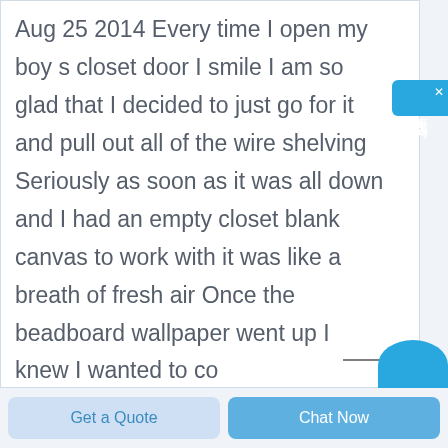Aug 25 2014 Every time I open my boy s closet door I smile I am so glad that I decided to just go for it and pull out all of the wire shelving Seriously as soon as it was all down and I had an empty closet blank canvas to work with it was like a breath of fresh air Once the beadboard wallpaper went up I knew I wanted to co
[Figure (other): Chinese online chat widget button with characters 在线咨询 (online consultation) on blue background, with a close X button]
Get a Quote
Chat Now